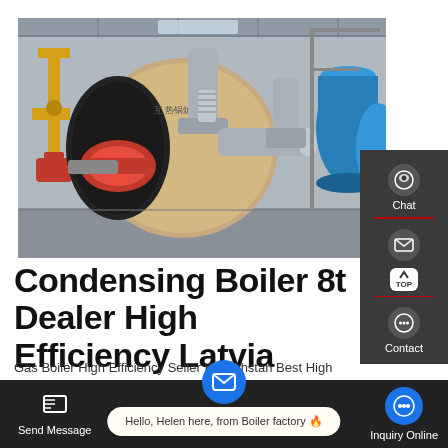[Figure (photo): Industrial condensing boiler installation in a factory setting. Large cylindrical silver/stainless boiler with red burner, yellow gas pipes on left, blue pressure vessels on right, metal pipe fittings and coils visible.]
Condensing Boiler 8t Dealer High Efficiency Latvia
Gas Boiler High Efficiency Seller Kazakhstan Best High Efficiency Gas Boilers Review in June 2021 Call 1-888-757-4774. Add to List. List. Compare. Add to List. List.